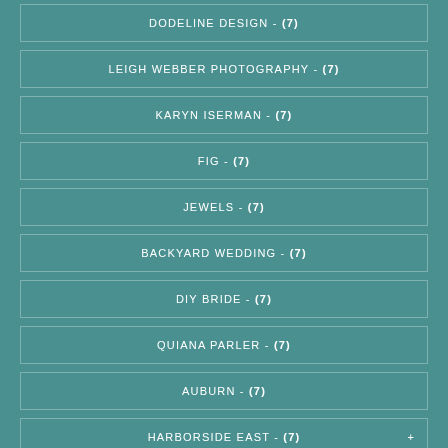DODELINE DESIGN - (7)
LEIGH WEBBER PHOTOGRAPHY - (7)
KARYN ISERMAN - (7)
FIG - (7)
JEWELS - (7)
BACKYARD WEDDING - (7)
DIY BRIDE - (7)
QUIANA PARLER - (7)
AUBURN - (7)
HARBORSIDE EAST - (7)
HIGH COTTON - (7)